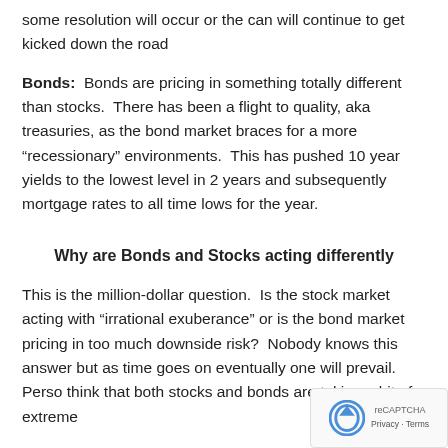some resolution will occur or the can will continue to get kicked down the road
Bonds: Bonds are pricing in something totally different than stocks. There has been a flight to quality, aka treasuries, as the bond market braces for a more “recessionary” environments. This has pushed 10 year yields to the lowest level in 2 years and subsequently mortgage rates to all time lows for the year.
Why are Bonds and Stocks acting differently
This is the million-dollar question. Is the stock market acting with “irrational exuberance” or is the bond market pricing in too much downside risk? Nobody knows this answer but as time goes on eventually one will prevail. Perso think that both stocks and bonds are taking a bit of extreme